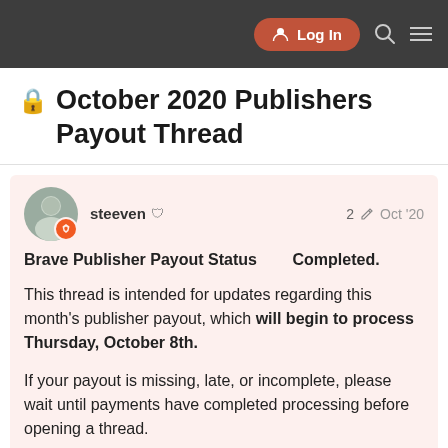Log In  [search] [menu]
🔒 October 2020 Publishers Payout Thread
steeven 🛡  2 ✏️  Oct '20
Brave Publisher Payout Status    Completed.
This thread is intended for updates regarding this month's publisher payout, which will begin to process Thursday, October 8th.
If your payout is missing, late, or incomplete, please wait until payments have completed processing before opening a thread.
Before posting, look over these comm... missing/partial BAT payouts:
1 / 4